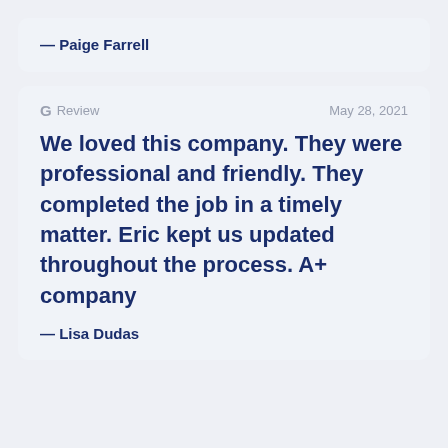— Paige Farrell
G Review   May 28, 2021
We loved this company. They were professional and friendly. They completed the job in a timely matter. Eric kept us updated throughout the process. A+ company
— Lisa Dudas